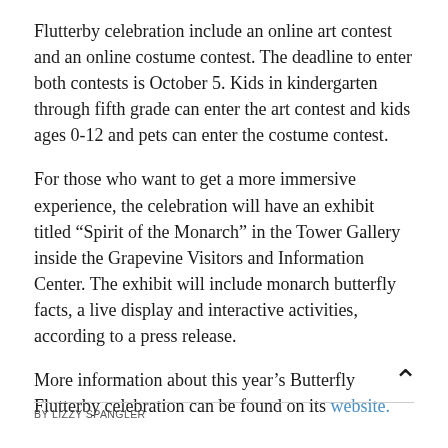Flutterby celebration include an online art contest and an online costume contest. The deadline to enter both contests is October 5. Kids in kindergarten through fifth grade can enter the art contest and kids ages 0-12 and pets can enter the costume contest.
For those who want to get a more immersive experience, the celebration will have an exhibit titled “Spirit of the Monarch” in the Tower Gallery inside the Grapevine Visitors and Information Center. The exhibit will include monarch butterfly facts, a live display and interactive activities, according to a press release.
More information about this year’s Butterfly Flutterby celebration can be found on its website.
BY LIZZY SPANGLER